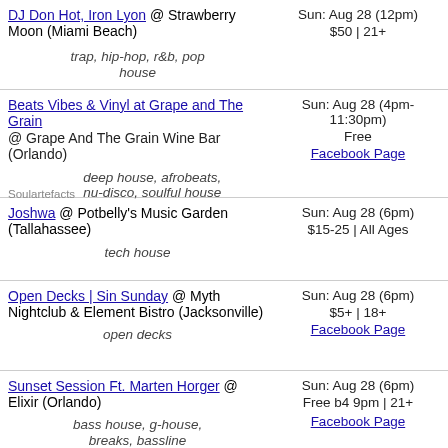DJ Don Hot, Iron Lyon @ Strawberry Moon (Miami Beach) — trap, hip-hop, r&b, pop, house — Sun: Aug 28 (12pm) — $50 | 21+
Beats Vibes & Vinyl at Grape and The Grain @ Grape And The Grain Wine Bar (Orlando) — deep house, afrobeats, nu-disco, soulful house — Sun: Aug 28 (4pm-11:30pm) — Free — Facebook Page
Joshwa @ Potbelly's Music Garden (Tallahassee) — tech house — Sun: Aug 28 (6pm) — $15-25 | All Ages
Open Decks | Sin Sunday @ Myth Nightclub & Element Bistro (Jacksonville) — open decks — Sun: Aug 28 (6pm) — $5+ | 18+ — Facebook Page
Sunset Session Ft. Marten Horger @ Elixir (Orlando) — bass house, g-house, breaks, bassline — Sun: Aug 28 (6pm) — Free b4 9pm | 21+ — Facebook Page